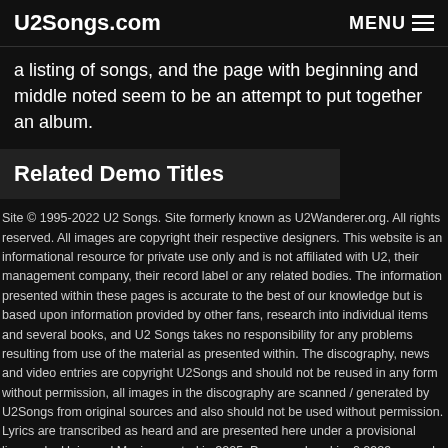U2Songs.com  MENU
a listing of songs, and the page with beginning and middle noted seem to be an attempt to put together an album.
Related Demo Titles
Site © 1995-2022 U2 Songs. Site formerly known as U2Wanderer.org. All rights reserved. All images are copyright their respective designers. This website is an informational resource for private use only and is not affiliated with U2, their management company, their record label or any related bodies. The information presented within these pages is accurate to the best of our knowledge but is based upon information provided by other fans, research into individual items and several books, and U2 Songs takes no responsibility for any problems resulting from use of the material as presented within. The discography, news and video entries are copyright U2Songs and should not be reused in any form without permission, all images in the discography are scanned / generated by U2Songs from original sources and also should not be used without permission. Lyrics are transcribed as heard and are presented here under a provisional license by Universal Music, granted in 2005. Page rendered in: 0.0929 seconds